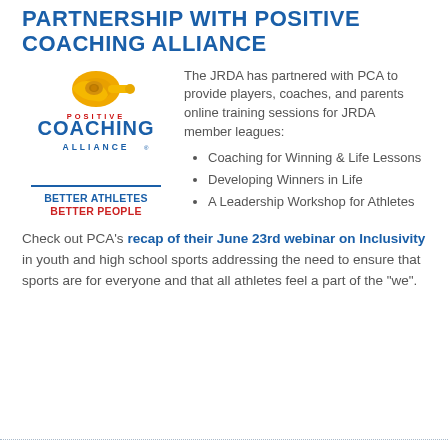PARTNERSHIP WITH POSITIVE COACHING ALLIANCE
[Figure (logo): Positive Coaching Alliance logo: golden whistle icon above text POSITIVE COACHING ALLIANCE in red and blue, with tagline BETTER ATHLETES BETTER PEOPLE]
The JRDA has partnered with PCA to provide players, coaches, and parents online training sessions for JRDA member leagues:
Coaching for Winning & Life Lessons
Developing Winners in Life
A Leadership Workshop for Athletes
Check out PCA's recap of their June 23rd webinar on Inclusivity in youth and high school sports addressing the need to ensure that sports are for everyone and that all athletes feel a part of the "we".